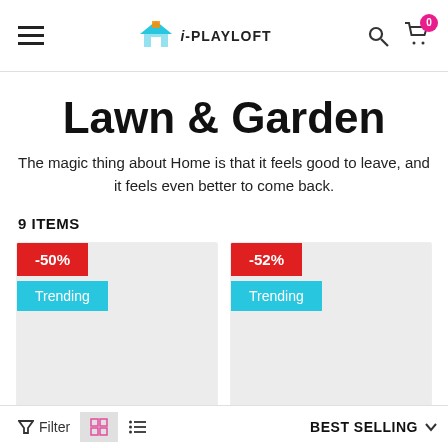i-PLAYLOFT — navigation header with hamburger menu, logo, search and cart icons
Lawn & Garden
The magic thing about Home is that it feels good to leave, and it feels even better to come back.
9 ITEMS
[Figure (screenshot): Product card with -50% red badge and Trending cyan badge on a light gray background]
[Figure (screenshot): Product card with -52% red badge and Trending cyan badge on a light gray background]
Filter | grid view | list view | BEST SELLING